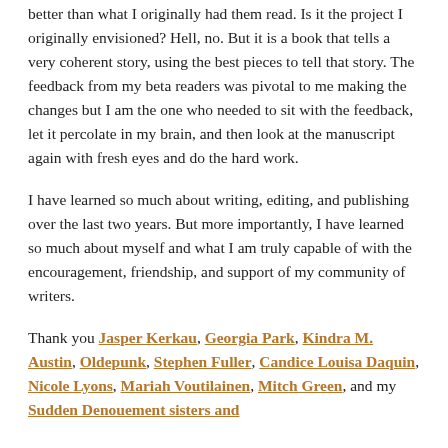better than what I originally had them read.  Is it the project I originally envisioned? Hell, no.  But it is a book that tells a very coherent story, using the best pieces to tell that story.  The feedback from my beta readers was pivotal to me making the changes but I am the one who needed to sit with the feedback, let it percolate in my brain, and then look at the manuscript again with fresh eyes and do the hard work.
I have learned so much about writing, editing, and publishing over the last two years.  But more importantly, I have learned so much about myself and what I am truly capable of with the encouragement, friendship, and support of my community of writers.
Thank you Jasper Kerkau, Georgia Park, Kindra M. Austin,  Oldepunk, Stephen Fuller, Candice Louisa Daquin, Nicole Lyons, Mariah Voutilainen, Mitch Green, and my Sudden Denouement sisters and